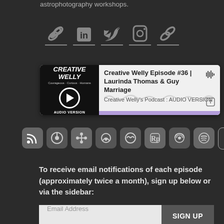astrophotography workshops.
[Figure (infographic): Row of 5 social media icons: link/chain, LinkedIn, Twitter, Instagram, link/chain, each with underline]
[Figure (screenshot): Podcast player card showing 'Creative Welly Episode #36 | Laurinda Thomas & Guy Marriage' from Creative Welly's Podcast: AUDIO VERSION, with play button, waveform, and purple accent bar]
[Figure (infographic): Row of 9 podcast platform app icons: RSS, Apple Podcasts, Google Podcasts, Overcast, Castro, RadioPublic, Pocket Casts, Spotify, and another platform]
To receive email notifications of each episode (approximately twice a month), sign up below or via the sidebar:
[Figure (infographic): Email signup form with 'Email Address' placeholder input and 'SIGN UP' button]